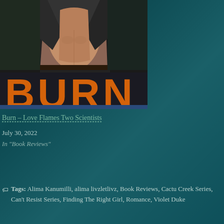[Figure (illustration): Book cover for 'BURN' showing a shirtless man in a black leather jacket, with large orange block letters spelling BURN across the bottom portion of the cover.]
Burn – Love Flames Two Scientists
July 30, 2022
In "Book Reviews"
Tags: Alima Kanumilli, alima livzletlivz, Book Reviews, Cactu Creek Series, Can't Resist Series, Finding The Right Girl, Romance, Violet Duke